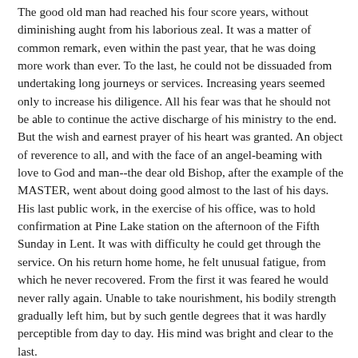The good old man had reached his four score years, without diminishing aught from his laborious zeal. It was a matter of common remark, even within the past year, that he was doing more work than ever. To the last, he could not be dissuaded from undertaking long journeys or services. Increasing years seemed only to increase his diligence. All his fear was that he should not be able to continue the active discharge of his ministry to the end. But the wish and earnest prayer of his heart was granted. An object of reverence to all, and with the face of an angel-beaming with love to God and man--the dear old Bishop, after the example of the MASTER, went about doing good almost to the last of his days. His last public work, in the exercise of his office, was to hold confirmation at Pine Lake station on the afternoon of the Fifth Sunday in Lent. It was with difficulty he could get through the service. On his return home home, he felt unusual fatigue, from which he never recovered. From the first it was feared he would never rally again. Unable to take nourishment, his bodily strength gradually left him, but by such gentle degrees that it was hardly perceptible from day to day. His mind was bright and clear to the last.